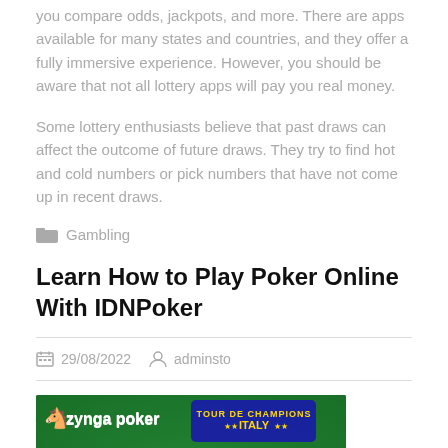you compare odds, jackpots, and more. There are apps available for many states and countries, and they offer a fully immersive experience. However, you should be aware that not all lottery apps will pay you real money.
Some lottery enthusiasts believe that past draws can affect the outcome of future draws. They try to find hot and cold numbers or pick numbers that have not come up in recent draws.
Gambling
Learn How to Play Poker Online With IDNPoker
29/08/2022   adminsto
[Figure (photo): Zynga Poker promotional image showing 'Tour de Champions Italy' with text 'HOW MANY OUTS?' and playing cards on a green poker table background.]